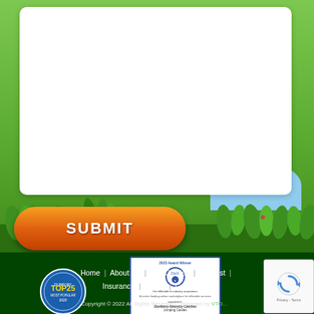[Figure (illustration): Green grass and sky background scene with a white form area and a cartoon-style landscape]
[Figure (illustration): Orange rounded SUBMIT button with white bold text]
[Figure (logo): ActiveActivities TOP25 Most Popular 2020 circular badge]
[Figure (illustration): BIHA certificate/award document for Dunbory-Bouncy-Castles Jumping Castles]
[Figure (illustration): reCAPTCHA Privacy-Terms widget]
Home | About Us | Our Castles | Pricelist | Insurance | FAQ's | Contact Us
Copyright © 2022 All Rights Reserved. Designed by VTD...